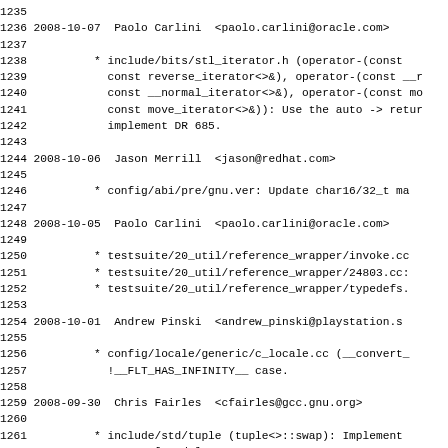Changelog/commit log entries for GCC library, showing dates, authors, emails, and file change descriptions from 2008-09-30 to 2008-10-07